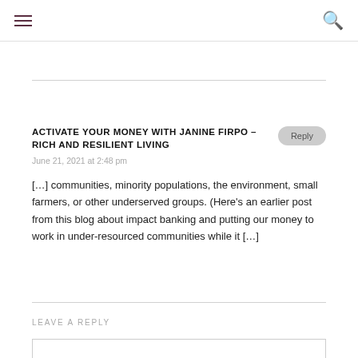≡  🔍
ACTIVATE YOUR MONEY WITH JANINE FIRPO – RICH AND RESILIENT LIVING
June 21, 2021 at 2:48 pm
[…] communities, minority populations, the environment, small farmers, or other underserved groups. (Here's an earlier post from this blog about impact banking and putting our money to work in under-resourced communities while it […]
LEAVE A REPLY